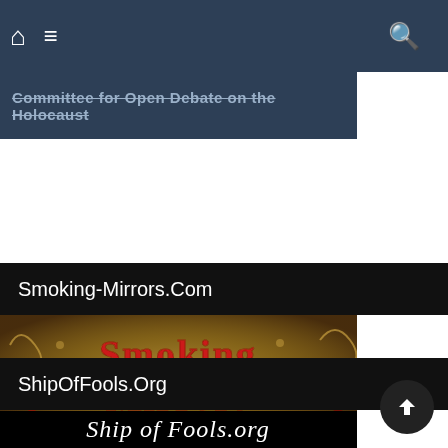Navigation bar with home, menu, and search icons
[Figure (screenshot): Partial dark blue banner with strikethrough text: Committee for Open Debate on the Holocaust]
Smoking-Mirrors.Com
[Figure (illustration): Ornate banner image for Smoking Mirrors website with gothic red lettering on aged textured background with decorative elements]
ShipOfFools.Org
[Figure (screenshot): Ship of Fools.org website banner showing white text on black background with medieval-style illustration figures below]